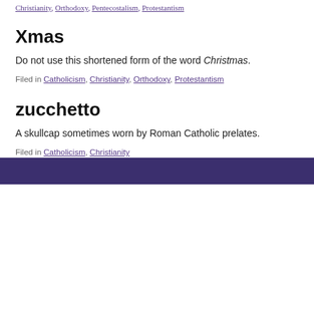Christianity, Orthodoxy, Pentecostalism, Protestantism
Xmas
Do not use this shortened form of the word Christmas.
Filed in Catholicism, Christianity, Orthodoxy, Protestantism
zucchetto
A skullcap sometimes worn by Roman Catholic prelates.
Filed in Catholicism, Christianity
[contact-form-7 404 "Not Found"]
[Figure (other): Dark purple/indigo footer bar at the bottom of the page]